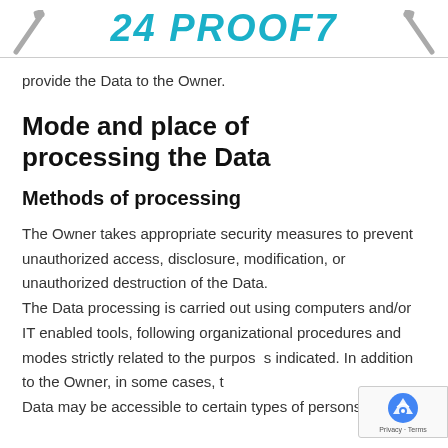24 PROOF7
provide the Data to the Owner.
Mode and place of processing the Data
Methods of processing
The Owner takes appropriate security measures to prevent unauthorized access, disclosure, modification, or unauthorized destruction of the Data. The Data processing is carried out using computers and/or IT enabled tools, following organizational procedures and modes strictly related to the purposes indicated. In addition to the Owner, in some cases, the Data may be accessible to certain types of persons in